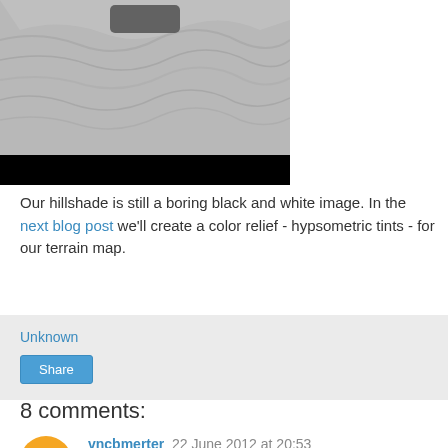[Figure (photo): A hillshade terrain map image in black and white, with a dark button/widget at the top center, showing textured terrain relief. A solid black bar at the bottom of the image.]
Our hillshade is still a boring black and white image. In the next blog post we'll create a color relief - hypsometric tints - for our terrain map.
Unknown
Share
8 comments:
vncbmerter  22 June 2012 at 20:53
Hi, nice post.
Here is a very handy tool to create this kind of images. It is based on gdaldem and provides a preview of the result : http://spaceyes3d.com/plugin/index.html